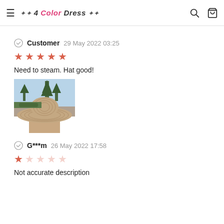4 Color Dress — navigation header
Customer  29 May 2022 03:25
★★★★★  (5 stars)
Need to steam. Hat good!
[Figure (photo): Person holding a large wide-brim straw hat outdoors with trees and sky in the background.]
G***m  26 May 2022 17:58
★☆☆☆☆  (1 star)
Not accurate description